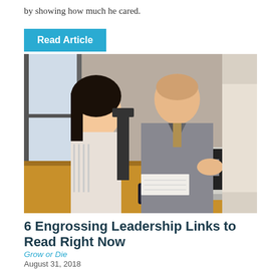by showing how much he cared.
Read Article
[Figure (photo): Three people at a desk, two smiling and looking at a laptop computer, one person standing in the background.]
6 Engrossing Leadership Links to Read Right Now
Grow or Die
August 31, 2018
In this month's 6 engrossing leadership links